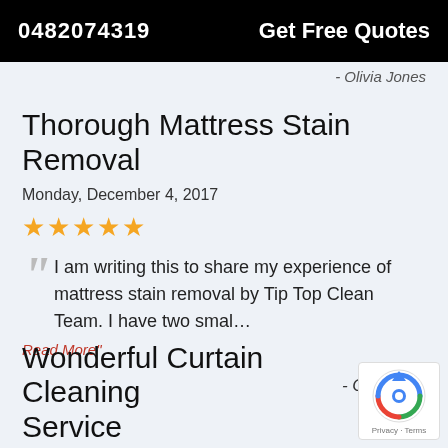0482074319   Get Free Quotes
- Olivia Jones
Thorough Mattress Stain Removal
Monday, December 4, 2017
★★★★★
"I am writing this to share my experience of mattress stain removal by Tip Top Clean Team. I have two smal… Read More"
- Catherine
Wonderful Curtain Cleaning Service
[Figure (logo): reCAPTCHA badge with Privacy and Terms text]